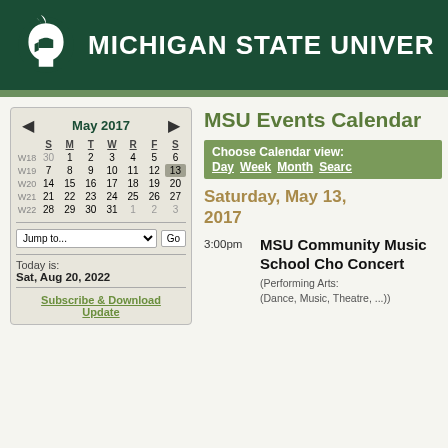MICHIGAN STATE UNIVERSITY
MSU Events Calendar
Choose Calendar view: Day Week Month Search
Saturday, May 13, 2017
3:00pm  MSU Community Music School Cho Concert (Performing Arts) (Dance, Music, Theatre, ...)
|  | S | M | T | W | R | F | S |
| --- | --- | --- | --- | --- | --- | --- | --- |
| W18 | 30 | 1 | 2 | 3 | 4 | 5 | 6 |
| W19 | 7 | 8 | 9 | 10 | 11 | 12 | 13 |
| W20 | 14 | 15 | 16 | 17 | 18 | 19 | 20 |
| W21 | 21 | 22 | 23 | 24 | 25 | 26 | 27 |
| W22 | 28 | 29 | 30 | 31 | 1 | 2 | 3 |
Today is: Sat, Aug 20, 2022
Subscribe & Download Update